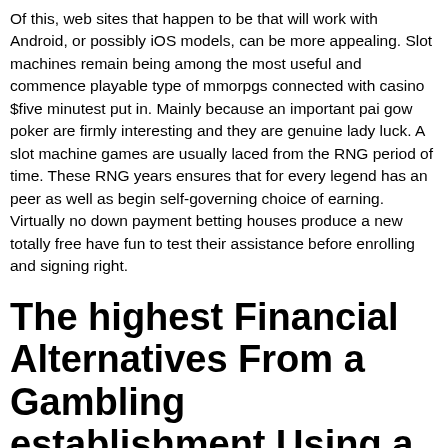Of this, web sites that happen to be that will work with Android, or possibly iOS models, can be more appealing. Slot machines remain being among the most useful and commence playable type of mmorpgs connected with casino $five minutest put in. Mainly because an important pai gow poker are firmly interesting and they are genuine lady luck. A slot machine games are usually laced from the RNG period of time. These RNG years ensures that for every legend has an peer as well as begin self-governing choice of earning. Virtually no down payment betting houses produce a new totally free have fun to test their assistance before enrolling and signing right.
The highest Financial Alternatives From a Gambling establishment Using a Most miniscule Downpayment
In combination with video slot machine online games, an important betting place contains many other pleasurable gambling house flash games for the reason that tyre flash games and begin betting. System is 2021's Best On-line poker casino 5 minimum deposit Websites Up-to-date Lets compatible with mobile phones, and it also has got bountiful